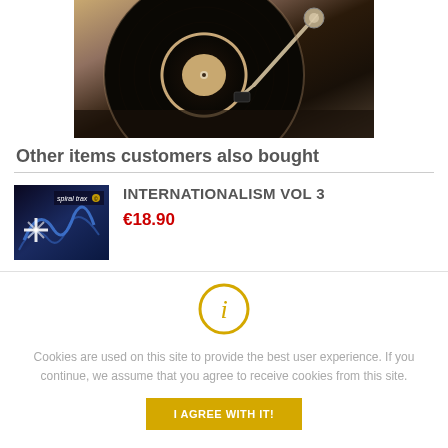[Figure (photo): Close-up photo of a vinyl record turntable with tonearm, sepia/warm tones]
Other items customers also bought
[Figure (photo): Album cover thumbnail for Internationalism Vol 3 by Spiral Trax, dark blue background with abstract figure]
INTERNATIONALISM VOL 3
€18.90
Cookies are used on this site to provide the best user experience. If you continue, we assume that you agree to receive cookies from this site.
I AGREE WITH IT!